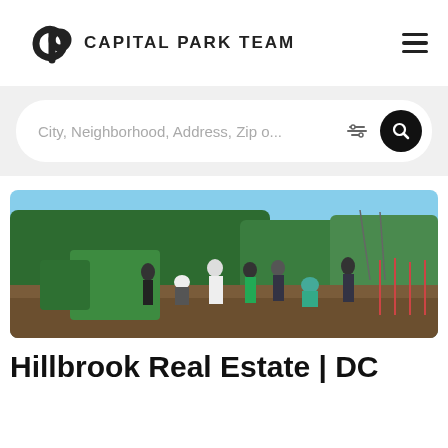CAPITAL PARK TEAM
City, Neighborhood, Address, Zip o...
[Figure (photo): Group of people working in a community garden or farm plot, with lush green trees in the background and a sunny sky. Several individuals are digging, planting, or standing in rows of soil.]
Hillbrook Real Estate | DC